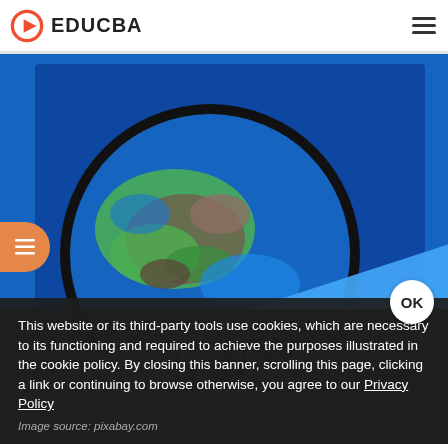EDUCBA
[Figure (illustration): Blue background with a globe showing Earth and a blue diagonal banner with '//www' text, styled as a world wide web concept image]
This website or its third-party tools use cookies, which are necessary to its functioning and required to achieve the purposes illustrated in the cookie policy. By closing this banner, scrolling this page, clicking a link or continuing to browse otherwise, you agree to our Privacy Policy
Image source: pixabay.com